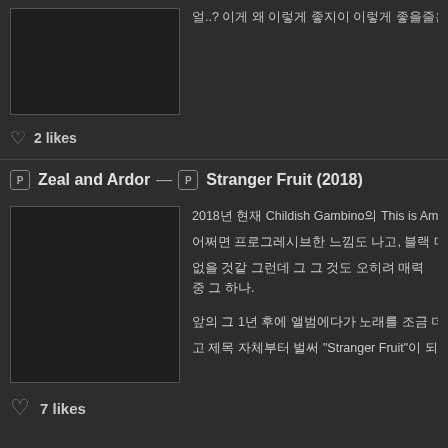얼..? 이게 왜 이렇게 좋지이 이렇게 좋을줄은 몰랐는데.... ... S
2 likes
Zeal and Ardor — Stranger Fruit (2018)
[Figure (photo): Album art placeholder for Stranger Fruit]
2018년 현재 Childish Gambino의 This is Americ...
어쩌면 프로그레시브한 느낌도 나고, 블랙 메탈과 흑인의 음악이 조금씩 머금고. 이건 이럴수도 이...
없을 것같 그런데 그 그 것도 오히려 매력 중 그 하나.
앞의 그 1년 후에 앨범에다가 노래를 조금 더 붙여. 블랙-메탈에다가 흑인음악을 더 끼워 넣어서...
고 제목 자체부터 벌써 "Stranger Fruit"이 되었원다. 허탈 허탈 ... See
7 likes